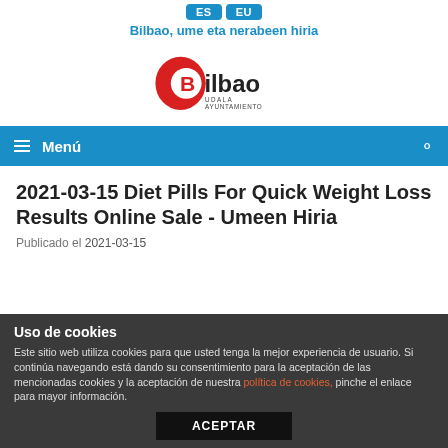[Figure (logo): Bilbao Udala Ayuntamiento logo with ES and EU language buttons and tagline 'Bilbao, ume eta nerabeen hiria']
Menú
2021-03-15 Diet Pills For Quick Weight Loss Results Online Sale - Umeen Hiria
Publicado el 2021-03-15
Uso de cookies
Este sitio web utiliza cookies para que usted tenga la mejor experiencia de usuario. Si continúa navegando está dando su consentimiento para la aceptación de las mencionadas cookies y la aceptación de nuestra política de cookies, pinche el enlace para mayor información.